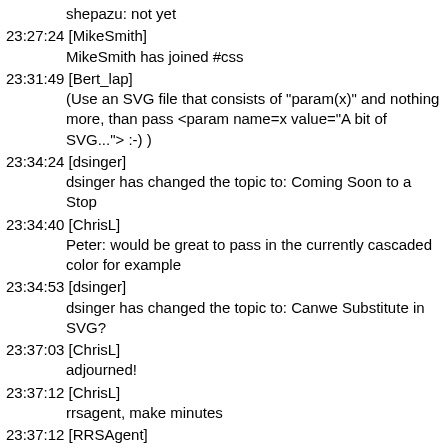shepazu: not yet
23:27:24 [MikeSmith]
MikeSmith has joined #css
23:31:49 [Bert_lap]
(Use an SVG file that consists of "param(x)" and nothing more, than pass <param name=x value="A bit of SVG..."> :-) )
23:34:24 [dsinger]
dsinger has changed the topic to: Coming Soon to a Stop
23:34:40 [ChrisL]
Peter: would be great to pass in the currently cascaded color for example
23:34:53 [dsinger]
dsinger has changed the topic to: Canwe Substitute in SVG?
23:37:03 [ChrisL]
adjourned!
23:37:12 [ChrisL]
rrsagent, make minutes
23:37:12 [RRSAgent]
I have made the request to generate http://www.w3.org/2009/11/03-CSS-minutes.html ChrisL
23:38:29 [bradk]